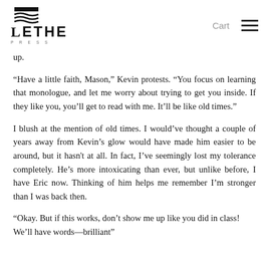LETHE | Cart | Menu
up.
“Have a little faith, Mason,” Kevin protests. “You focus on learning that monologue, and let me worry about trying to get you inside. If they like you, you’ll get to read with me. It’ll be like old times.”
I blush at the mention of old times. I would’ve thought a couple of years away from Kevin’s glow would have made him easier to be around, but it hasn't at all. In fact, I’ve seemingly lost my tolerance completely. He’s more intoxicating than ever, but unlike before, I have Eric now. Thinking of him helps me remember I’m stronger than I was back then.
“Okay. But if this works, don’t show me up like you did in class! We’ll have words—brilliant” [truncated]